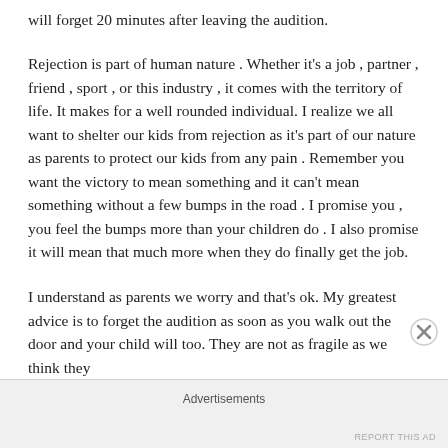will forget 20 minutes after leaving the audition.
Rejection is part of human nature . Whether it's a job , partner , friend , sport , or this industry , it comes with the territory of life. It makes for a well rounded individual. I realize we all want to shelter our kids from rejection as it's part of our nature as parents to protect our kids from any pain . Remember you want the victory to mean something and it can't mean something without a few bumps in the road . I promise you , you feel the bumps more than your children do . I also promise it will mean that much more when they do finally get the job.
I understand as parents we worry and that's ok. My greatest advice is to forget the audition as soon as you walk out the door and your child will too. They are not as fragile as we think they
Advertisements